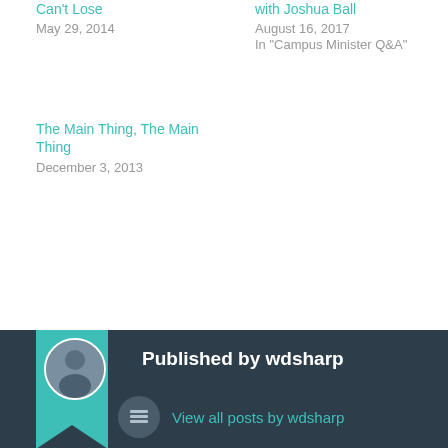Can't Lose
May 29, 2014
with Joshua Ball
August 16, 2017
In "Campus Minister Q&A"
The Main Thing, The Main Thing
December 3, 2013
Published by wdsharp
View all posts by wdsharp
December 11, 2013
Uncategorized